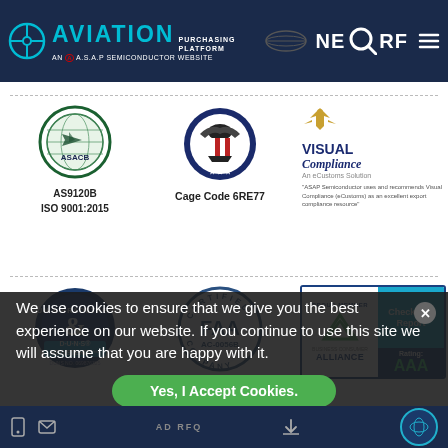[Figure (logo): Aviation Purchasing Platform - AN A.S.A.P Semiconductor Website header with NERF logo on right, dark navy background]
[Figure (logo): ASACB AS9120B ISO 9001:2015 certification logo]
[Figure (logo): Cage Code 6RE77 US government seal badge]
[Figure (logo): Visual Compliance An eCustoms Solution logo with eagle and text]
[Figure (logo): Dun & Bradstreet D-U-N-S Registered badge, DUNS NO. 069876325]
[Figure (logo): FAA Certified Company AC-0056B circular badge]
[Figure (logo): Business Consumer Alliance Proud Member Check Our Report Rating AAA badge]
[Figure (logo): Triangle/ASSOCIATION logo partially visible]
[Figure (logo): Authenticity Certified AS6081 circular stamp partially visible]
We use cookies to ensure that we give you the best experience on our website. If you continue to use this site we will assume that you are happy with it.
Yes, I Accept Cookies.